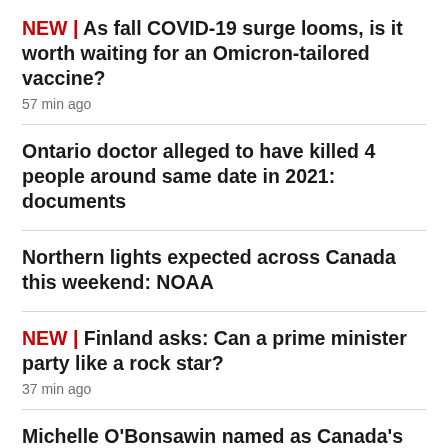NEW | As fall COVID-19 surge looms, is it worth waiting for an Omicron-tailored vaccine?
57 min ago
Ontario doctor alleged to have killed 4 people around same date in 2021: documents
Northern lights expected across Canada this weekend: NOAA
NEW | Finland asks: Can a prime minister party like a rock star?
37 min ago
Michelle O'Bonsawin named as Canada's first Indigenous Supreme Court justice